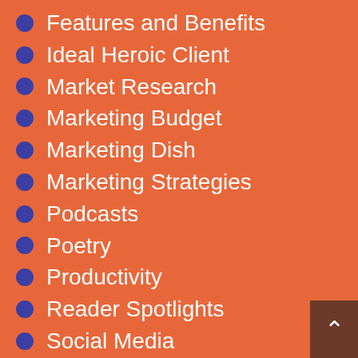Features and Benefits
Ideal Heroic Client
Market Research
Marketing Budget
Marketing Dish
Marketing Strategies
Podcasts
Poetry
Productivity
Reader Spotlights
Social Media
Storytelling